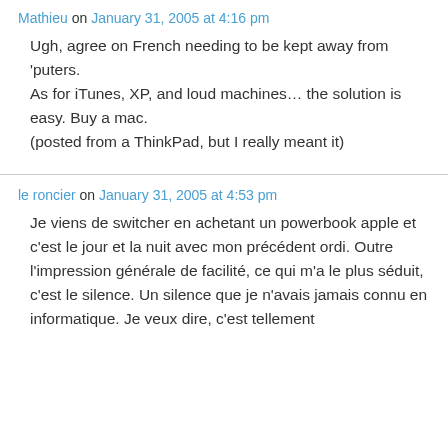Mathieu on January 31, 2005 at 4:16 pm
Ugh, agree on French needing to be kept away from 'puters.
As for iTunes, XP, and loud machines… the solution is easy. Buy a mac.
(posted from a ThinkPad, but I really meant it)
le roncier on January 31, 2005 at 4:53 pm
Je viens de switcher en achetant un powerbook apple et c'est le jour et la nuit avec mon précédent ordi. Outre l'impression générale de facilité, ce qui m'a le plus séduit, c'est le silence. Un silence que je n'avais jamais connu en informatique. Je veux dire, c'est tellement